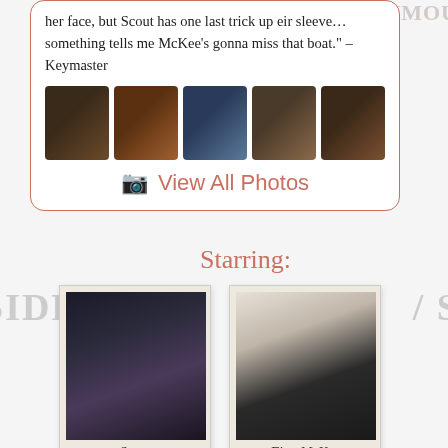her face, but Scout has one last trick up eir sleeve… something tells me McKee's gonna miss that boat." – Keymaster
[Figure (photo): Strip of 5 thumbnail photos showing people in various scenes]
View All Photos
Starring:
[Figure (photo): Polaroid-style photo of Scout – person with dark hair and glasses wearing black jacket]
Scout
[Figure (photo): Polaroid-style photo of Finn McKee – person with short brown hair in black jacket, smiling]
Finn McKee